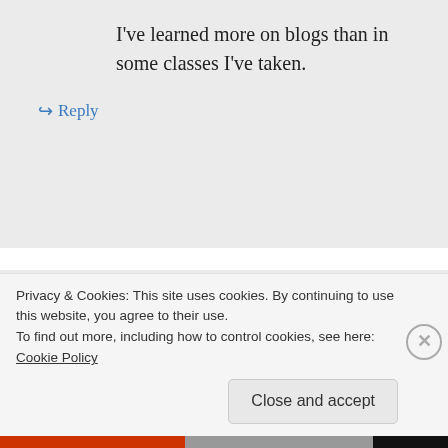I've learned more on blogs than in some classes I've taken.
↳ Reply
Gloria Richard Author on January 25, 2012 at 7:18 pm
Ditto on the blog support, Florence and Brinda.
Privacy & Cookies: This site uses cookies. By continuing to use this website, you agree to their use. To find out more, including how to control cookies, see here: Cookie Policy
Close and accept